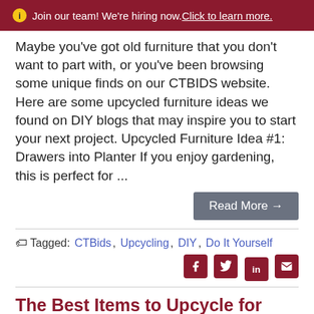Join our team! We're hiring now. Click to learn more.
Maybe you've got old furniture that you don't want to part with, or you've been browsing some unique finds on our CTBIDS website. Here are some upcycled furniture ideas we found on DIY blogs that may inspire you to start your next project. Upcycled Furniture Idea #1: Drawers into Planter If you enjoy gardening, this is perfect for ...
Read More →
Tagged: CTBids, Upcycling, DIY, Do It Yourself
The Best Items to Upcycle for Your Summer Garden
Posted by Kim Peterson on June 14, 2021 at 1:00 PM
Summer is the perfect season for upcycled projects